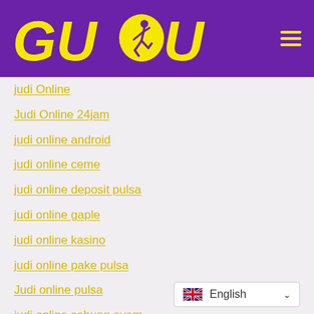[Figure (logo): GUDU logo with yellow text and runner icon on purple background, with hamburger menu icon on the right]
judi Online
Judi Online 24jam
judi online android
judi online ceme
judi online deposit pulsa
judi online gaple
judi online kasino
judi online pake pulsa
Judi online pulsa
judi online sabung ayam
judi online slot
judi online slot terpercaya
[Figure (other): Language selector dropdown showing UK flag and 'English' text with chevron]